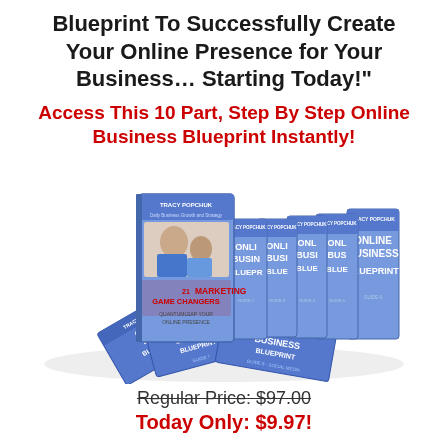Blueprint To Successfully Create Your Online Presence for Your Business… Starting Today!"
Access This 10 Part, Step By Step Online Business Blueprint Instantly!
[Figure (illustration): A collection of 10 online business blueprint guide books and ebooks by Tracy Popchuk, showing multiple book spines and flat booklets spread out, with ONLINE BUSINESS BLUEPRINT text visible on covers]
Regular Price: $97.00
Today Only: $9.97!